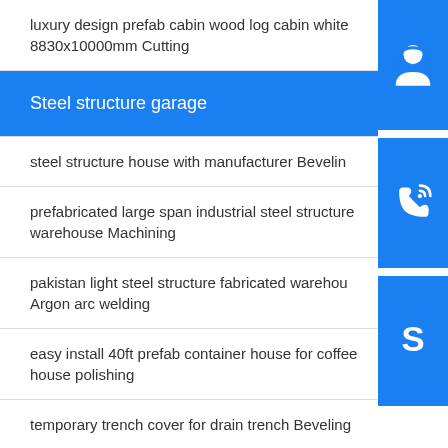luxury design prefab cabin wood log cabin white 8830x10000mm Cutting
Steel structure garage
steel structure house with manufacturer Beveling
prefabricated large span industrial steel structure warehouse Machining
pakistan light steel structure fabricated warehouse Argon arc welding
easy install 40ft prefab container house for coffee house polishing
temporary trench cover for drain trench Beveling
[Figure (infographic): Blue sidebar with three icon buttons: customer service (headset/person icon), phone/call icon, and Skype icon]